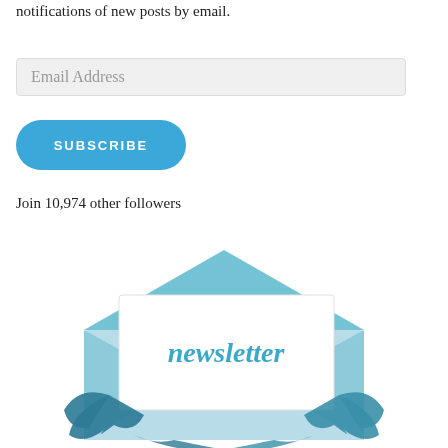notifications of new posts by email.
Email Address
SUBSCRIBE
Join 10,974 other followers
[Figure (illustration): Newsletter illustration showing an open envelope with a white card reading 'newsletter' in teal cursive text, surrounded by circular teal arrows, against a light blue envelope flap background.]